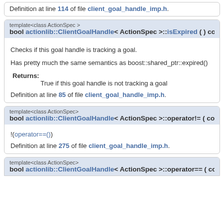Definition at line 114 of file client_goal_handle_imp.h.
template<class ActionSpec >
bool actionlib::ClientGoalHandle< ActionSpec >::isExpired ( ) const
Checks if this goal handle is tracking a goal.
Has pretty much the same semantics as boost::shared_ptr::expired()
Returns:
True if this goal handle is not tracking a goal
Definition at line 85 of file client_goal_handle_imp.h.
template<class ActionSpec>
bool actionlib::ClientGoalHandle< ActionSpec >::operator!= ( const Cl
!(operator==())
Definition at line 275 of file client_goal_handle_imp.h.
template<class ActionSpec>
bool actionlib::ClientGoalHandle< ActionSpec >::operator== ( const C